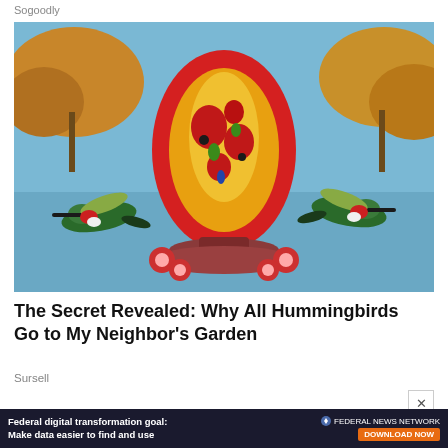Sogoodly
[Figure (photo): A colorful blown-glass egg-shaped hummingbird feeder with red, yellow, orange, and green patterns, hanging outdoors with autumn foliage in background and two hummingbirds flying on either side.]
The Secret Revealed: Why All Hummingbirds Go to My Neighbor's Garden
Sursell
[Figure (photo): Partial bottom strip showing another image and an advertisement banner for Federal News Network with text: Federal digital transformation goal: Make data easier to find and use, with a Download Now button.]